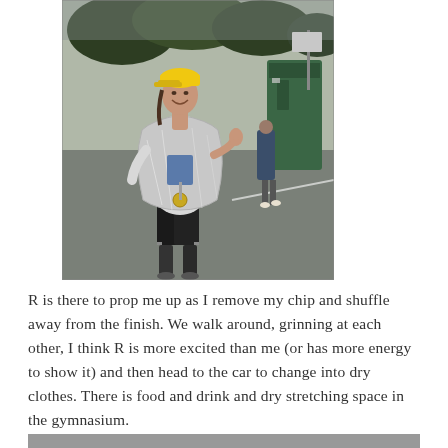[Figure (photo): A woman wearing a yellow cap, sports shorts, and a silver mylar thermal blanket draped around her, giving a thumbs up after completing a race. She has a medal around her neck. Background shows a wet parking lot, trees, a green portable toilet, and another person walking. Overcast/rainy day.]
R is there to prop me up as I remove my chip and shuffle away from the finish. We walk around, grinning at each other, I think R is more excited than me (or has more energy to show it) and then head to the car to change into dry clothes. There is food and drink and dry stretching space in the gymnasium.
[Figure (photo): Partial view of another photo at the bottom of the page, mostly cropped off.]